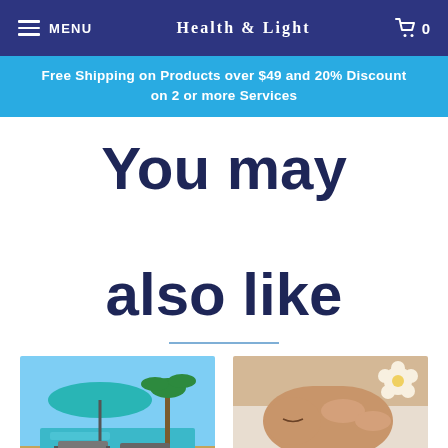MENU  HEALTH & LIGHT  0
Free Shipping on Products over $49 and 20% Discount on 2 or more Services
You may also like
[Figure (photo): Outdoor pool area with teal umbrella and lounge chairs, tropical trees in background]
[Figure (photo): Woman lying face down receiving a massage with white flowers and spa accessories nearby]
Day Spa
Therapeutic